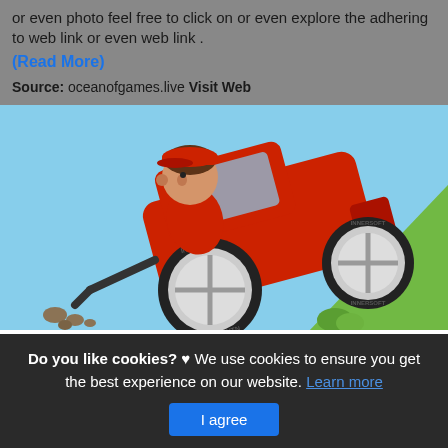or even photo feel free to click on or even explore the adhering to web link or even web link .
(Read More)
Source: oceanofgames.live Visit Web
[Figure (illustration): Screenshot of Hill Climb Racing game showing a cartoon character in a red off-road vehicle climbing a steep green hill against a light blue sky background. The vehicle has large tires with crosshair-style rims.]
Do you like cookies? ♥ We use cookies to ensure you get the best experience on our website. Learn more
I agree